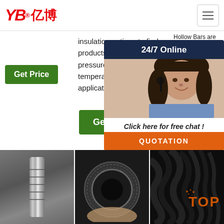YB亿博® [hamburger menu]
insulation options to find products that suit the pressures and temperatures of your applications.
Hollow Bars are made from: Nylon, Ace..., Erta..., mat..., mac..., bea..., stru...
Get Price (button, left column)
Get Price (button, middle column)
G... (button, right column, partially visible)
24/7 Online
Click here for free chat !
QUOTATION
[Figure (photo): Metal tube/cylinder product photo]
[Figure (photo): Hydraulic hose fitting close-up, black rubber, braided]
[Figure (photo): Bundle of black cables/hoses with orange TOP logo]